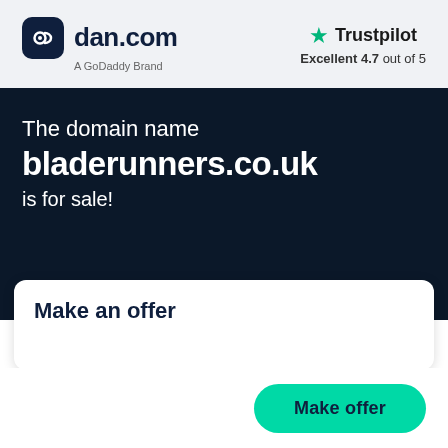[Figure (logo): dan.com logo with rounded square icon and text, A GoDaddy Brand subtitle]
[Figure (logo): Trustpilot logo with green star, Excellent 4.7 out of 5]
The domain name
bladerunners.co.uk
is for sale!
Make an offer
Make offer